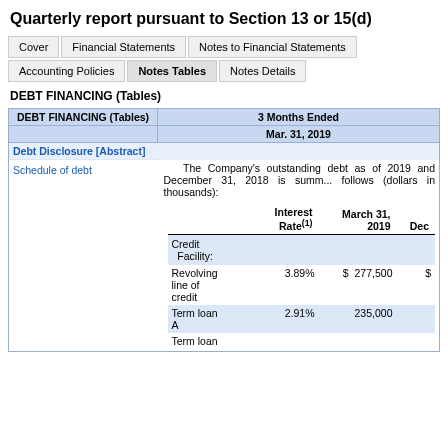Quarterly report pursuant to Section 13 or 15(d)
Cover | Financial Statements | Notes to Financial Statements | Accounting Policies | Notes Tables | Notes Details
DEBT FINANCING (Tables)
| DEBT FINANCING (Tables) | 3 Months Ended Mar. 31, 2019 |
| --- | --- |
| Debt Disclosure [Abstract] |  |
| Schedule of debt | The Company's outstanding debt as of 2019 and December 31, 2018 is summarized as follows (dollars in thousands): |
|  | Interest Rate(1) | March 31, 2019 | Dec... |
|  | Credit Facility: |
|  | Revolving line of credit | 3.89% | $ 277,500 | $ |
|  | Term loan A | 2.91% | 235,000 |
|  | Term loan |